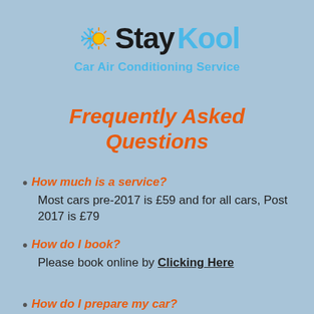[Figure (logo): StayKool logo with snowflake and sun icon, text 'StayKool' and subtitle 'Car Air Conditioning Service']
Frequently Asked Questions
How much is a service? Most cars pre-2017 is £59 and for all cars, Post 2017 is £79
How do I book? Please book online by Clicking Here